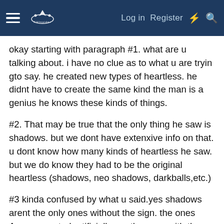Log in   Register
okay starting with paragraph #1. what are u talking about. i have no clue as to what u are tryin gto say. he created new types of heartless. he didnt have to create the same kind the man is a genius he knows these kinds of things.
#2. That may be true that the only thing he saw is shadows. but we dont have extenxive info on that. u dont know how many kinds of heartless he saw. but we do know they had to be the original heartless (shadows, neo shadows, darkballs,etc.)
#3 kinda confused by what u said.yes shadows arent the only ones without the sign. the ones Ansem created artificially are the ones with the signs. thats common sense.
#4.okay Ansem had to have built that emblem. who the hell do u think did it. face it the man was f*cking crazy about the heartless. he try to become one himself.. the man is a crazed lunatic. he made up that sign when he was studying the heartless. u get it a heart with 2 lines crossed through it. kinda